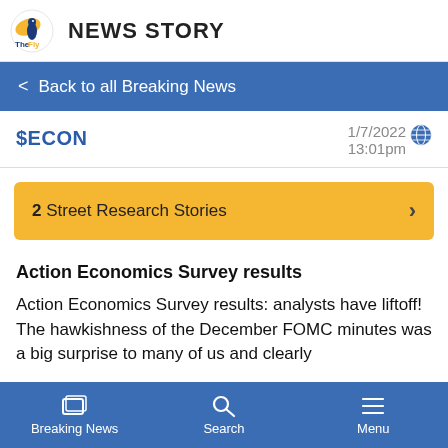The Fly NEWS STORY
< Back to all Breaking News
$ECON  1/7/2022 13:01pm
2 Street Research Stories
Action Economics Survey results
Action Economics Survey results: analysts have liftoff! The hawkishness of the December FOMC minutes was a big surprise to many of us and clearly
Breaking News  Search  Menu